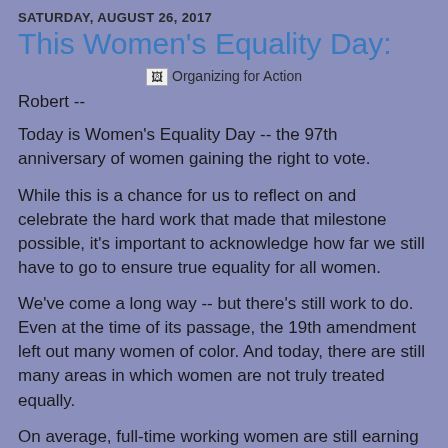SATURDAY, AUGUST 26, 2017
This Women's Equality Day:
[Figure (logo): Organizing for Action logo/image placeholder]
Robert --
Today is Women's Equality Day -- the 97th anniversary of women gaining the right to vote.
While this is a chance for us to reflect on and celebrate the hard work that made that milestone possible, it's important to acknowledge how far we still have to go to ensure true equality for all women.
We've come a long way -- but there's still work to do. Even at the time of its passage, the 19th amendment left out many women of color. And today, there are still many areas in which women are not truly treated equally.
On average, full-time working women are still earning less than their male counterparts, and that gap is even wider when race and ethnicity are taken into account. Too many